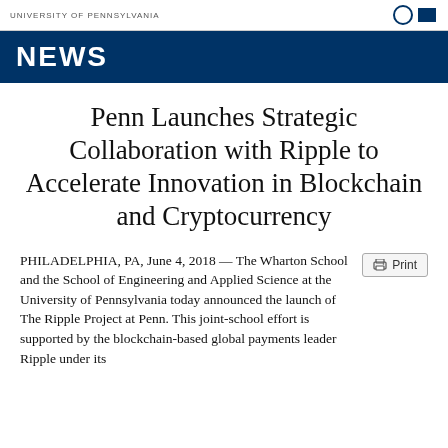UNIVERSITY OF PENNSYLVANIA
NEWS
Penn Launches Strategic Collaboration with Ripple to Accelerate Innovation in Blockchain and Cryptocurrency
PHILADELPHIA, PA, June 4, 2018 — The Wharton School and the School of Engineering and Applied Science at the University of Pennsylvania today announced the launch of The Ripple Project at Penn. This joint-school effort is supported by the blockchain-based global payments leader Ripple under its